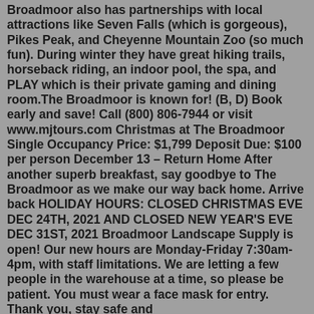Broadmoor also has partnerships with local attractions like Seven Falls (which is gorgeous), Pikes Peak, and Cheyenne Mountain Zoo (so much fun). During winter they have great hiking trails, horseback riding, an indoor pool, the spa, and PLAY which is their private gaming and dining room.The Broadmoor is known for! (B, D) Book early and save! Call (800) 806-7944 or visit www.mjtours.com Christmas at The Broadmoor Single Occupancy Price: $1,799 Deposit Due: $100 per person December 13 – Return Home After another superb breakfast, say goodbye to The Broadmoor as we make our way back home. Arrive back HOLIDAY HOURS: CLOSED CHRISTMAS EVE DEC 24TH, 2021 AND CLOSED NEW YEAR'S EVE DEC 31ST, 2021 Broadmoor Landscape Supply is open! Our new hours are Monday-Friday 7:30am-4pm, with staff limitations. We are letting a few people in the warehouse at a time, so please be patient. You must wear a face mask for entry. Thank you, stay safe and